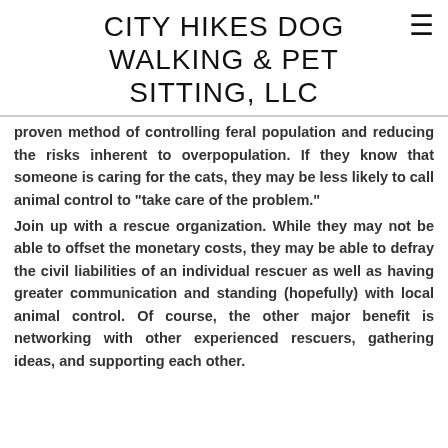CITY HIKES DOG WALKING & PET SITTING, LLC
proven method of controlling feral population and reducing the risks inherent to overpopulation. If they know that someone is caring for the cats, they may be less likely to call animal control to "take care of the problem."
Join up with a rescue organization. While they may not be able to offset the monetary costs, they may be able to defray the civil liabilities of an individual rescuer as well as having greater communication and standing (hopefully) with local animal control. Of course, the other major benefit is networking with other experienced rescuers, gathering ideas, and supporting each other.